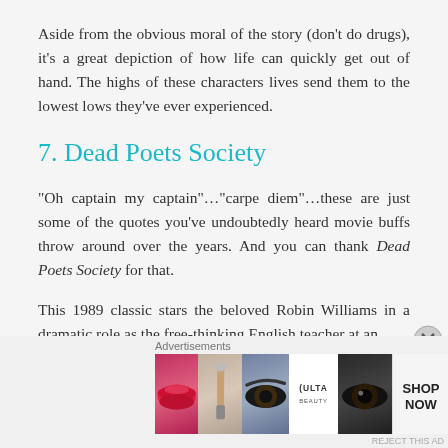Aside from the obvious moral of the story (don't do drugs), it's a great depiction of how life can quickly get out of hand. The highs of these characters lives send them to the lowest lows they've ever experienced.
7. Dead Poets Society
“Oh captain my captain”…“carpe diem”…these are just some of the quotes you’ve undoubtedly heard movie buffs throw around over the years. And you can thank Dead Poets Society for that.
This 1989 classic stars the beloved Robin Williams in a dramatic role as the free-thinking English teacher at an
Advertisements
[Figure (other): ULTA beauty advertisement banner showing makeup imagery (lips, makeup brush, eye) alongside ULTA logo and SHOP NOW call to action]